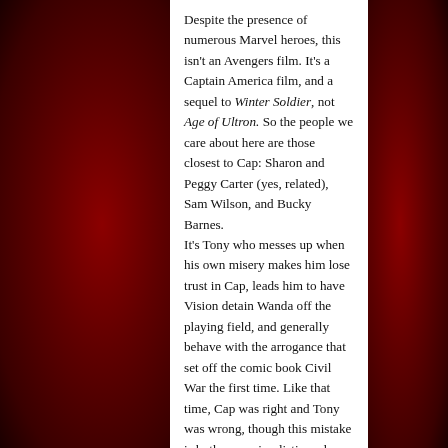Despite the presence of numerous Marvel heroes, this isn't an Avengers film. It's a Captain America film, and a sequel to Winter Soldier, not Age of Ultron. So the people we care about here are those closest to Cap: Sharon and Peggy Carter (yes, related), Sam Wilson, and Bucky Barnes.
It's Tony who messes up when his own misery makes him lose trust in Cap, leads him to have Vision detain Wanda off the playing field, and generally behave with the arrogance that set off the comic book Civil War the first time. Like that time, Cap was right and Tony was wrong, though this mistake is both more simplistic and more contrived. There are long patches of exposition in this film, and a decades-long spy plot that I confess I lost track of more than once, or that at least was tied to some very unlikely coincidences that drive the plot without enough resonance to always engage the emotions. Hi, Tony's parents, great casting, where'd you come from again?